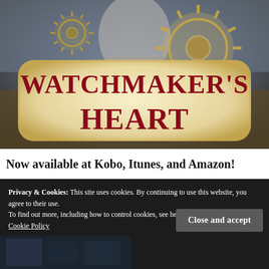[Figure (illustration): Book cover for 'Watchmaker's Heart' showing steampunk gears, a figure in white, with dark urban background and golden gear decorations]
Now available at Kobo, Itunes, and Amazon!
Privacy & Cookies: This site uses cookies. By continuing to use this website, you agree to their use.
To find out more, including how to control cookies, see here:
Cookie Policy
Close and accept
[Figure (photo): Partial bottom image, dark toned]